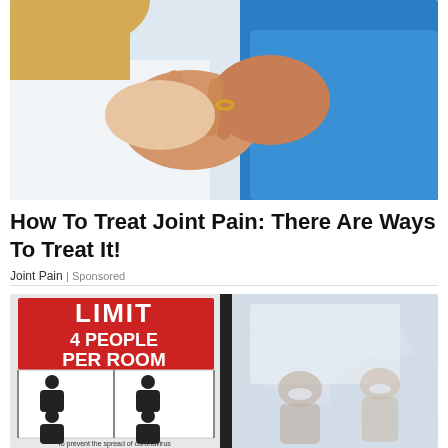[Figure (photo): Doctor or healthcare professional examining an elderly patient's hand/fingers — the patient wears a blue polo shirt and a ring; the practitioner is in white clothing with blonde hair.]
How To Treat Joint Pain: There Are Ways To Treat It!
Joint Pain | Sponsored
[Figure (photo): Left half: A red-and-white sign reading 'LIMIT 4 PEOPLE PER ROOM' with four person icons, captioned 'To prevent the spread of coronavirus'. Right half: Blurred image of people wearing face masks meeting in an office setting.]